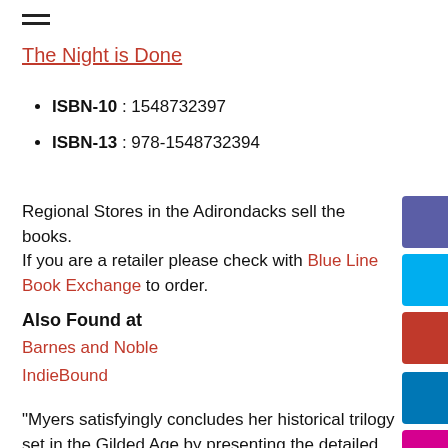≡
The Night is Done
ISBN-10 : 1548732397
ISBN-13 : 978-1548732394
Regional Stores in the Adirondacks sell the books. If you are a retailer please check with Blue Line Book Exchange to order.
Also Found at
Barnes and Noble
IndieBound
"Myers satisfyingly concludes her historical trilogy set in the Gilded Age by presenting the detailed downfall of ruthless real estate mogul William West Durant; his